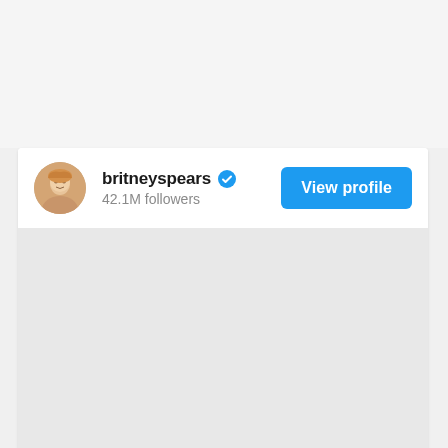[Figure (screenshot): Screenshot of a social media profile card for britneyspears showing 42.1M followers with a verified badge and a blue 'View profile' button. The top portion of the page shows a light gray background, and below the profile header row is a darker gray empty content area.]